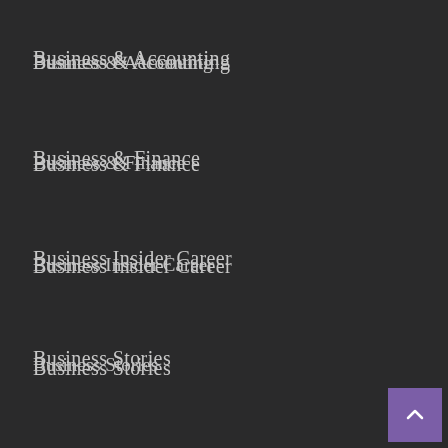Business & Accounting
Business & Finance
Business Insider Career
Business Stories
Business Strategy
Business Today
Forex Trading
General Article
How To Get Rich
Investment